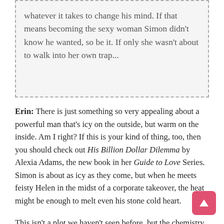whatever it takes to change his mind. If that means becoming the sexy woman Simon didn't know he wanted, so be it. If only she wasn't about to walk into her own trap...
Erin: There is just something so very appealing about a powerful man that's icy on the outside, but warm on the inside. Am I right? If this is your kind of thing, too, then you should check out His Billion Dollar Dilemma by Alexia Adams, the new book in her Guide to Love Series. Simon is about as icy as they come, but when he meets feisty Helen in the midst of a corporate takeover, the heat might be enough to melt even his stone cold heart.
This isn't a plot we haven't seen before, but the chemistry between geeky Helen and brash Simon was all kinds of fun. The romance is sweet and flirty and I enjoyed it a lot. I also